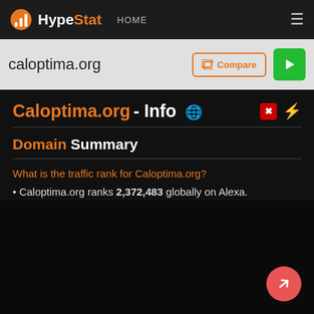HypeStat HOME
caloptima.org
Caloptima.org - Info
Domain Summary
What is the traffic rank for Caloptima.org?
Caloptima.org ranks 2,372,483 globally on Alexa.